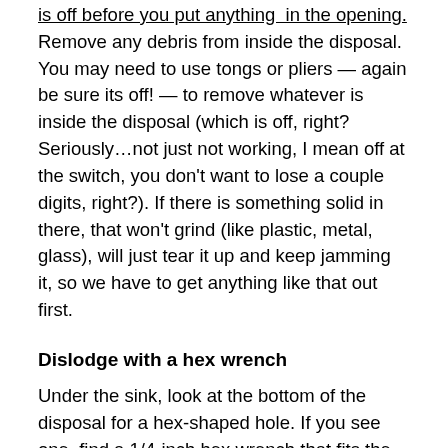is off before you put anything in the opening. Remove any debris from inside the disposal. You may need to use tongs or pliers — again be sure its off! — to remove whatever is inside the disposal (which is off, right? Seriously…not just not working, I mean off at the switch, you don't want to lose a couple digits, right?). If there is something solid in there, that won't grind (like plastic, metal, glass), will just tear it up and keep jamming it, so we have to get anything like that out first.
Dislodge with a hex wrench
Under the sink, look at the bottom of the disposal for a hex-shaped hole. If you see one, find a 1/4-inch hex wrench that fits the hole (often there is one attached to the disposal). Fit the hex wrench into the hole, and force it back and forth in both directions a few times to free the impellers. You may not be able to move it, if